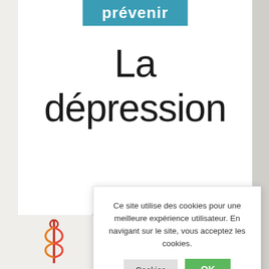[Figure (screenshot): Book cover for 'La dépression' from the 'prévenir' series, showing blue banner with 'prévenir', large title text 'La dépression', a teal ring/donut graphic, and a snake medical symbol logo at the bottom left. A cookie consent overlay dialog is displayed on top of the lower portion of the cover.]
Ce site utilise des cookies pour une meilleure expérience utilisateur. En navigant sur le site, vous acceptez les cookies.
Cookies
OK